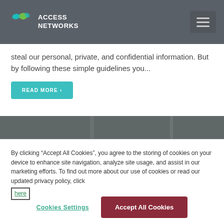[Figure (logo): Access Networks logo with teal and green swoosh shapes and white text 'ACCESS NETWORKS']
steal our personal, private, and confidential information. But by following these simple guidelines you...
READ MORE ›
[Figure (photo): Partial photo strip showing dark background with blurred subject]
By clicking “Accept All Cookies”, you agree to the storing of cookies on your device to enhance site navigation, analyze site usage, and assist in our marketing efforts. To find out more about our use of cookies or read our updated privacy policy, click here
Cookies Settings
Accept All Cookies